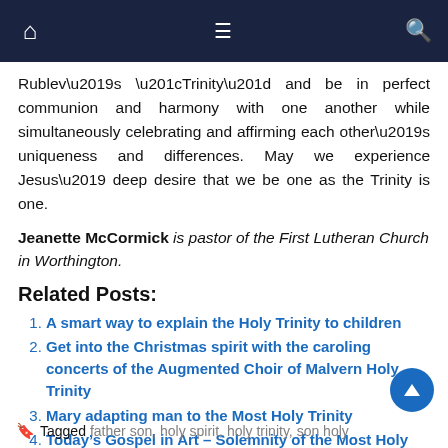Navigation bar with home, menu, and search icons
Rublev's “Trinity” and be in perfect communion and harmony with one another while simultaneously celebrating and affirming each other’s uniqueness and differences. May we experience Jesus’ deep desire that we be one as the Trinity is one.
Jeanette McCormick is pastor of the First Lutheran Church in Worthington.
Related Posts:
A smart way to explain the Holy Trinity to children
Get into the Christmas spirit with the caroling concerts of the Augmented Choir of Malvern Holy Trinity
Mary adapting man to the Most Holy Trinity
Today’s Gospel in Art – Solemnity of the Most Holy Trinity
Tagged father son, holy spirit, holy trinity, son holy